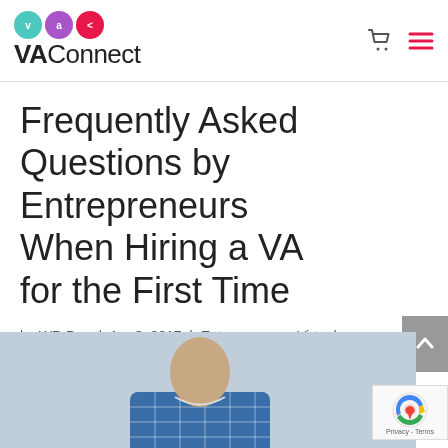VAConnect
Frequently Asked Questions by Entrepreneurs When Hiring a VA for the First Time
by WP-Dev | Apr 3, 2017 | Entrepreneurs, Virtual Assistant |
[Figure (photo): A person wearing a blue plaid/checkered shirt, photographed from shoulders up, with a light background. Partial view only.]